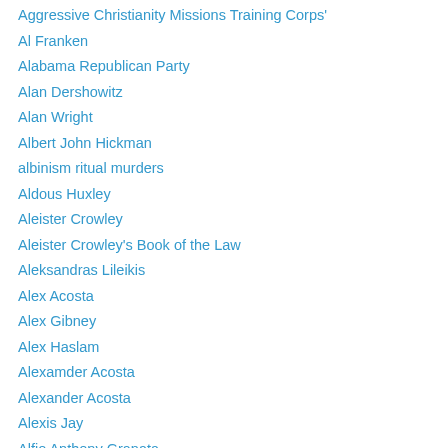Aggressive Christianity Missions Training Corps'
Al Franken
Alabama Republican Party
Alan Dershowitz
Alan Wright
Albert John Hickman
albinism ritual murders
Aldous Huxley
Aleister Crowley
Aleister Crowley's Book of the Law
Aleksandras Lileikis
Alex Acosta
Alex Gibney
Alex Haslam
Alexamder Acosta
Alexander Acosta
Alexis Jay
Alfio Anthony Granata
Alfio Granata
Alfred C. Kinsey